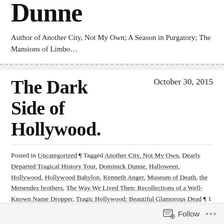Dunne
Author of Another City, Not My Own; A Season in Purgatory; The Mansions of Limbo…
The Dark Side of Hollywood.
October 30, 2015
Posted in Uncategorized ¶ Tagged Another City, Not My Own, Dearly Departed Tragical History Tour, Dominick Dunne, Halloween, Hollywood, Hollywood Babylon, Kenneth Anger, Museum of Death, the Menendez brothers, The Way We Lived Then: Recollections of a Well-Known Name Dropper, Tragic Hollywood: Beautiful Glamorous Dead ¶ 1 Comment
Follow